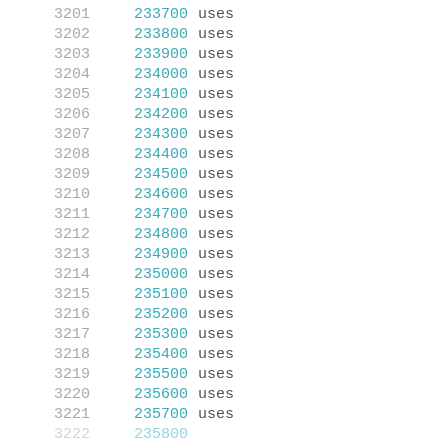| row | value | label |
| --- | --- | --- |
| 3201 | 233700 | uses |
| 3202 | 233800 | uses |
| 3203 | 233900 | uses |
| 3204 | 234000 | uses |
| 3205 | 234100 | uses |
| 3206 | 234200 | uses |
| 3207 | 234300 | uses |
| 3208 | 234400 | uses |
| 3209 | 234500 | uses |
| 3210 | 234600 | uses |
| 3211 | 234700 | uses |
| 3212 | 234800 | uses |
| 3213 | 234900 | uses |
| 3214 | 235000 | uses |
| 3215 | 235100 | uses |
| 3216 | 235200 | uses |
| 3217 | 235300 | uses |
| 3218 | 235400 | uses |
| 3219 | 235500 | uses |
| 3220 | 235600 | uses |
| 3221 | 235700 | uses |
| 3222 | 235800 | uses |